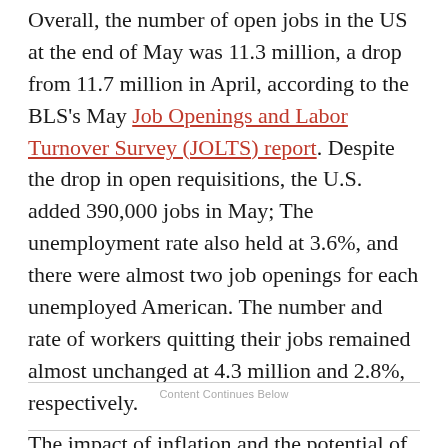Overall, the number of open jobs in the US at the end of May was 11.3 million, a drop from 11.7 million in April, according to the BLS's May Job Openings and Labor Turnover Survey (JOLTS) report. Despite the drop in open requisitions, the U.S. added 390,000 jobs in May; The unemployment rate also held at 3.6%, and there were almost two job openings for each unemployed American. The number and rate of workers quitting their jobs remained almost unchanged at 4.3 million and 2.8%, respectively.
Content Continues Below
The impact of inflation and the potential of a